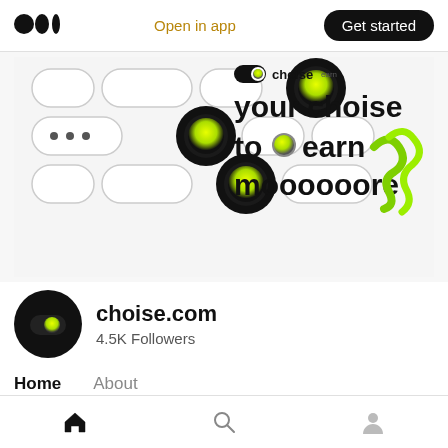Open in app | Get started
[Figure (screenshot): Choise.com banner advertisement showing a grid of pill/circle shapes with green glowing dots and text 'your choise to earn moooooore' with a green squiggle graphic]
choise.com
4.5K Followers
Home  About
Jun 28
Home | Search | Profile